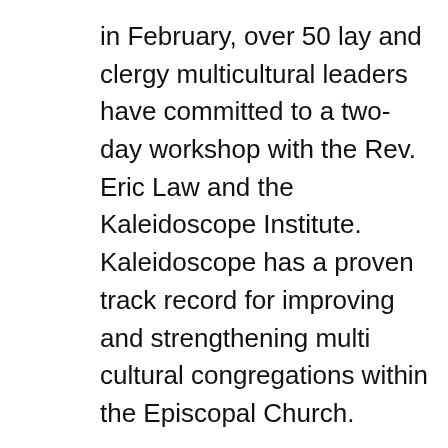in February, over 50 lay and clergy multicultural leaders have committed to a two-day workshop with the Rev. Eric Law and the Kaleidoscope Institute. Kaleidoscope has a proven track record for improving and strengthening multi cultural congregations within the Episcopal Church.
Without question, one of the important times in the life of a congregation is during clergy leadership transition. It's also the time that you both expect and need to be well supported by your diocese. This is a high priority, as it is one of the most significant ways that as a diocese we invest in one another. In the last four years 48 — over half– of our congregations have experienced or are experiencing now clergy transition.
In some places this transition...